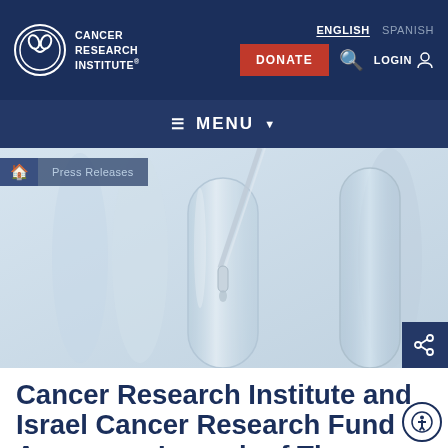[Figure (logo): Cancer Research Institute logo — circular emblem with white ribbon/figure on dark navy background, with text CANCER RESEARCH INSTITUTE]
ENGLISH  SPANISH
DONATE  🔍  LOGIN
≡ MENU ▾
[Figure (photo): Laboratory photo showing a glass pipette dripping liquid into a glass test tube, with multiple glass cylinders in the background, in a bluish-white color palette. Breadcrumb overlay shows home icon and Press Releases. Share icon in bottom-right corner.]
Cancer Research Institute and Israel Cancer Research Fund Announce Launch of The Immunotherapy Premi